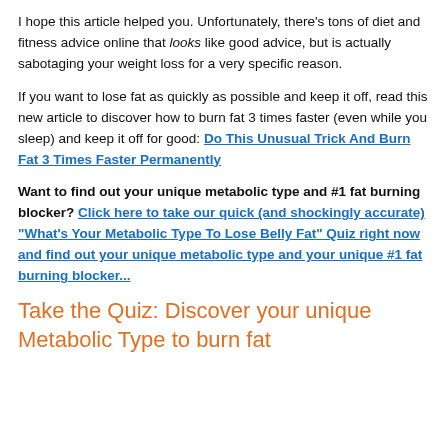I hope this article helped you. Unfortunately, there's tons of diet and fitness advice online that looks like good advice, but is actually sabotaging your weight loss for a very specific reason.
If you want to lose fat as quickly as possible and keep it off, read this new article to discover how to burn fat 3 times faster (even while you sleep) and keep it off for good: Do This Unusual Trick And Burn Fat 3 Times Faster Permanently
Want to find out your unique metabolic type and #1 fat burning blocker? Click here to take our quick (and shockingly accurate) "What's Your Metabolic Type To Lose Belly Fat" Quiz right now and find out your unique metabolic type and your unique #1 fat burning blocker...
Take the Quiz: Discover your unique Metabolic Type to burn fat